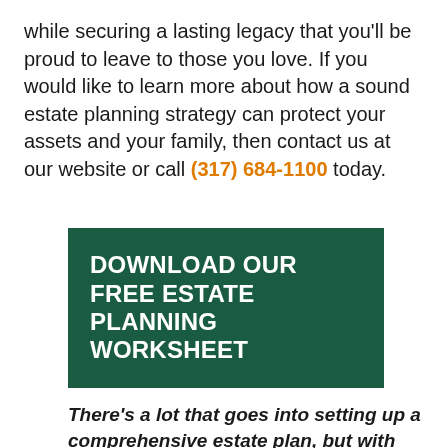while securing a lasting legacy that you'll be proud to leave to those you love. If you would like to learn more about how a sound estate planning strategy can protect your assets and your family, then contact us at our website or call (317) 684-1100 today.
[Figure (other): Dark green banner with white bold text reading: DOWNLOAD OUR FREE ESTATE PLANNING WORKSHEET]
There's a lot that goes into setting up a comprehensive estate plan, but with our FREE